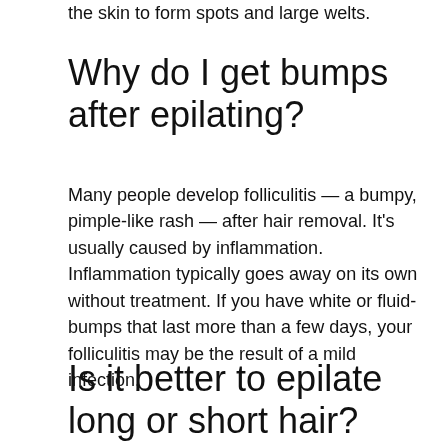the skin to form spots and large welts.
Why do I get bumps after epilating?
Many people develop folliculitis — a bumpy, pimple-like rash — after hair removal. It's usually caused by inflammation. Inflammation typically goes away on its own without treatment. If you have white or fluid-bumps that last more than a few days, your folliculitis may be the result of a mild infection.
Is it better to epilate long or short hair?